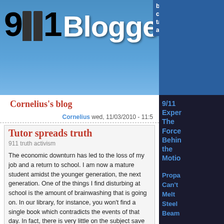911blogger.com - Cornelius's blog
Cornelius's blog
Cornelius wed, 11/03/2010 - 11:5
Tutor spreads truth
911 truth activism
The economic downturn has led to the loss of my job and a return to school. I am now a mature student amidst the younger generation, the next generation. One of the things I find disturbing at school is the amount of brainwashing that is going on. In our library, for instance, you won't find a single book which contradicts the events of that day. In fact, there is very little on the subject save for the 911 commission report and a couple others.
2 comments   Read more
Cornelius sat, 09/19/2009 - 4:0
Let us rile corporate educational intoitutions
9/11 Exper The Force Behin the Motio
Propa Can't Melt Steel Beam
Air Defen Exerc a Month Bfr...